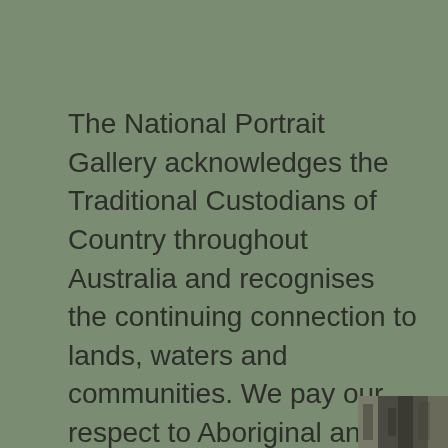The National Portrait Gallery acknowledges the Traditional Custodians of Country throughout Australia and recognises the continuing connection to lands, waters and communities. We pay our respect to Aboriginal and Torres Strait Islander cultures and to Elders both past and present.
Aboriginal and Torres Strait Islander viewers are warned that this website contains images of
[Figure (photo): Partial photo strip visible at bottom right corner, showing dark muted tones suggesting people or artwork]